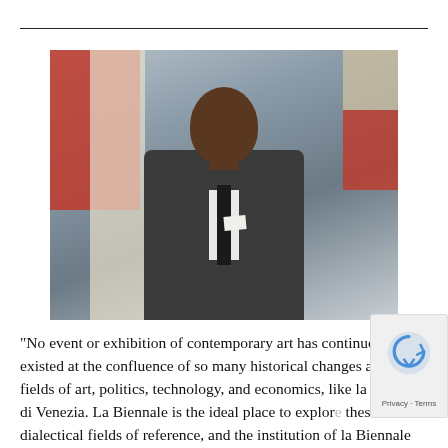[Figure (photo): Portrait photo of a man in a dark grey suit with a dark tie and white pocket square, standing in front of a background with red and cream/beige elements. The man appears to be of African descent, with a serious expression.]
“No event or exhibition of contemporary art has continuously existed at the confluence of so many historical changes across the fields of art, politics, technology, and economics, like la Biennale di Venezia. La Biennale is the ideal place to explore these dialectical fields of reference, and the institution of la Biennale itself will be a source o...